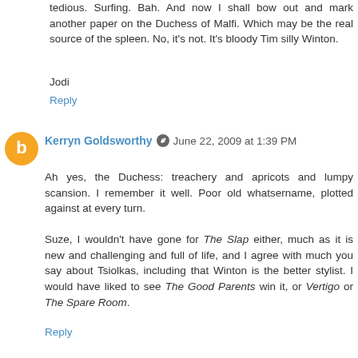tedious. Surfing. Bah. And now I shall bow out and mark another paper on the Duchess of Malfi. Which may be the real source of the spleen. No, it's not. It's bloody Tim silly Winton.
Jodi
Reply
Kerryn Goldsworthy  June 22, 2009 at 1:39 PM
Ah yes, the Duchess: treachery and apricots and lumpy scansion. I remember it well. Poor old whatsername, plotted against at every turn.

Suze, I wouldn't have gone for The Slap either, much as it is new and challenging and full of life, and I agree with much you say about Tsiolkas, including that Winton is the better stylist. I would have liked to see The Good Parents win it, or Vertigo or The Spare Room.
Reply